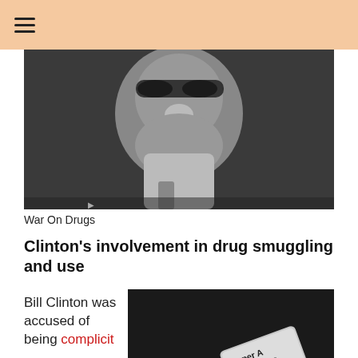☰
[Figure (photo): Black and white close-up photograph of a man wearing sunglasses, in a suit, looking sideways]
War On Drugs
Clinton's involvement in drug smuggling and use
Bill Clinton was accused of being complicit
[Figure (photo): Black and white photo of white powder lines and a razor blade labeled SUPER A SUPER STAINLESS on a dark surface]